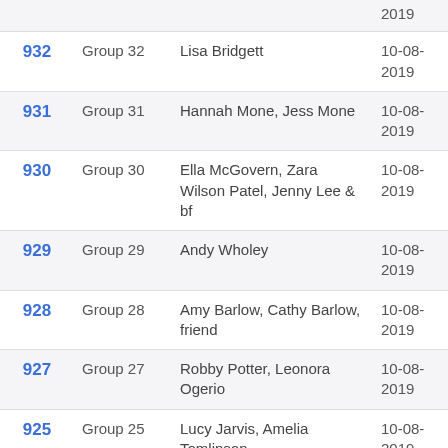| ID | Group | Names | Date | Action |
| --- | --- | --- | --- | --- |
|  |  |  | 2019 |  |
| 932 | Group 32 | Lisa Bridgett | 10-08-2019 | Watch |
| 931 | Group 31 | Hannah Mone, Jess Mone | 10-08-2019 | Watch |
| 930 | Group 30 | Ella McGovern, Zara Wilson Patel, Jenny Lee & bf | 10-08-2019 | Watch |
| 929 | Group 29 | Andy Wholey | 10-08-2019 | Watch |
| 928 | Group 28 | Amy Barlow, Cathy Barlow, friend | 10-08-2019 | Watch |
| 927 | Group 27 | Robby Potter, Leonora Ogerio | 10-08-2019 | Watch |
| 925 | Group 25 | Lucy Jarvis, Amelia Tomlinson | 10-08-2019 | Watch |
| 924 | Group 24 | Martin Hibbert, Eve Hibbert | 10-08-2019 | Watch |
| 923 | Group 23 | Evie Mills, Millie Mitchell | 10-08-2019 | Watch |
|  |  | Josie Howarth, Janet | 10-08- |  |